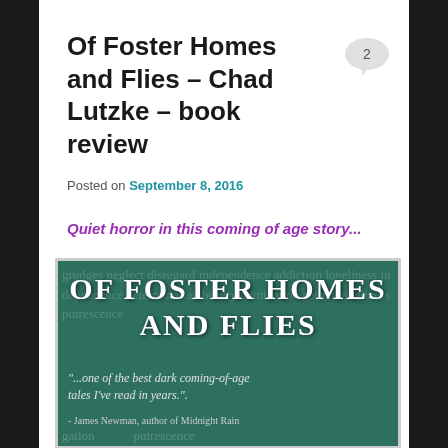Of Foster Homes and Flies – Chad Lutzke – book review
Posted on September 8, 2016
Quiet horror in this coming of age story...
[Figure (photo): Book cover of 'Of Foster Homes and Flies' by Chad Lutzke, showing a dark teal/green chalkboard background with faded words, large white bold title text 'OF FOSTER HOMES AND FLIES', and a quote: '...one of the best dark coming-of-age tales I've read in years.' - James Newman, author of Midnight Rain]